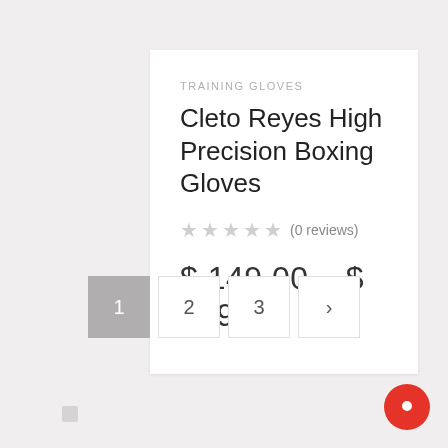TRAINING GLOVES
Cleto Reyes High Precision Boxing Gloves
★★★★★ (0 reviews)
$ 149.00 – $ 189.00
1
2
3
›